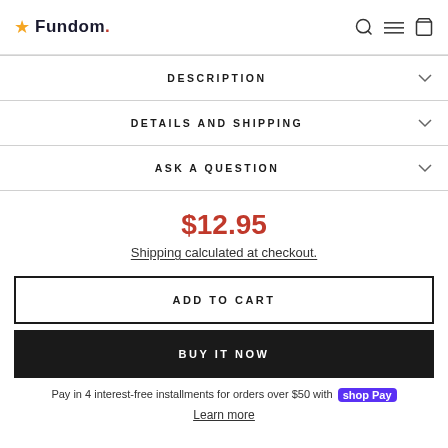Fundom
DESCRIPTION
DETAILS AND SHIPPING
ASK A QUESTION
$12.95
Shipping calculated at checkout.
ADD TO CART
BUY IT NOW
Pay in 4 interest-free installments for orders over $50 with shop Pay
Learn more